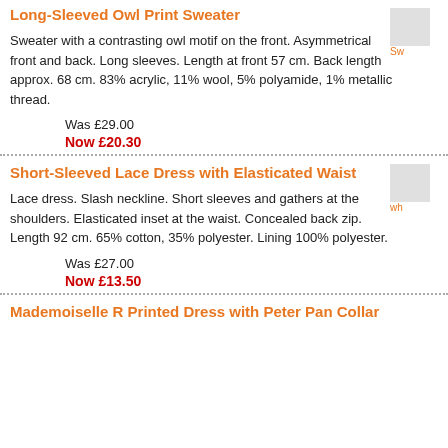Long-Sleeved Owl Print Sweater
Sweater with a contrasting owl motif on the front. Asymmetrical front and back. Long sleeves. Length at front 57 cm. Back length approx. 68 cm. 83% acrylic, 11% wool, 5% polyamide, 1% metallic thread.
Was £29.00
Now £20.30
Short-Sleeved Lace Dress with Elasticated Waist
Lace dress. Slash neckline. Short sleeves and gathers at the shoulders. Elasticated inset at the waist. Concealed back zip. Length 92 cm. 65% cotton, 35% polyester. Lining 100% polyester.
Was £27.00
Now £13.50
Mademoiselle R Printed Dress with Peter Pan Collar